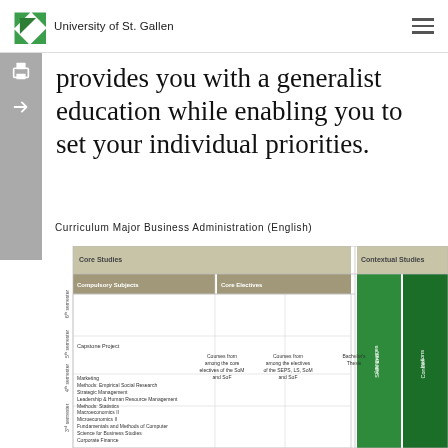University of St. Gallen
provides you with a generalist education while enabling you to set your individual priorities.
Curriculum Major Business Administration (English)
[Figure (table-as-image): Curriculum chart showing Core Studies (Compulsory Subjects and Core Electives) and Contextual Studies (Skills and Languages, Concentrations) organized by semester rows from 1st to 6th semester. Includes Bachelor's Thesis column. Rows list subjects: Marketing, Methods: Empirical Social Research, Strategic Management, Leadership & Human Resource Management, Methods: Statistics; Macroeconomics II, Microeconomics II, Fundamentals and Methods of Computer Science for Business Studies, Corporate Finance, Accounting, Controlling, Auditing, Introduction to Operations Management, Business and Fiscal Law; Capstone Project; and a 6th semester row. Core Electives: Courses from among the core electives of the SoM and SoF; Courses from among the electives of the SEPS, LS, SoM and SoF. Skills and Languages and Concentrations columns in green on the right.]